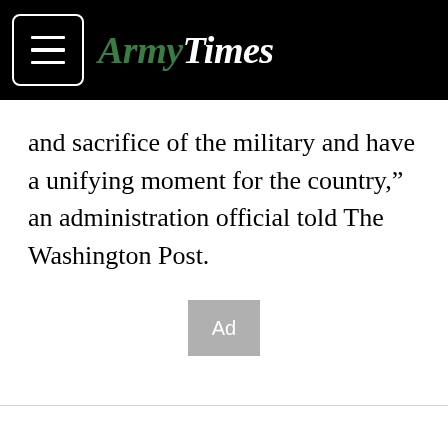ArmyTimes
and sacrifice of the military and have a unifying moment for the country," an administration official told The Washington Post.
[Figure (other): Ad placeholder box with grey background and 'Ad' label in white text]